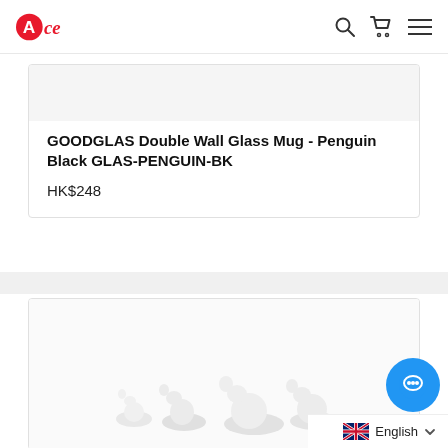Ace
[Figure (photo): Top portion of a product listing card showing a white/light background product image area (partially cropped at top)]
GOODGLAS Double Wall Glass Mug - Penguin Black GLAS-PENGUIN-BK
HK$248
[Figure (photo): Second product card showing white ceramic figurines (small lying/resting figures) on a white background]